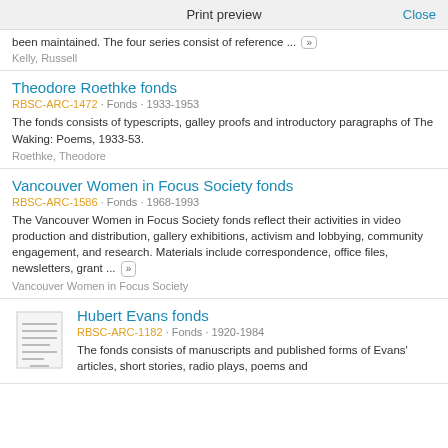Print preview   Close
been maintained. The four series consist of reference ... Kelly, Russell
Theodore Roethke fonds
RBSC-ARC-1472 · Fonds · 1933-1953
The fonds consists of typescripts, galley proofs and introductory paragraphs of The Waking: Poems, 1933-53.
Roethke, Theodore
Vancouver Women in Focus Society fonds
RBSC-ARC-1586 · Fonds · 1968-1993
The Vancouver Women in Focus Society fonds reflect their activities in video production and distribution, gallery exhibitions, activism and lobbying, community engagement, and research. Materials include correspondence, office files, newsletters, grant ...
Vancouver Women in Focus Society
Hubert Evans fonds
RBSC-ARC-1182 · Fonds · 1920-1984
The fonds consists of manuscripts and published forms of Evans' articles, short stories, radio plays, poems and